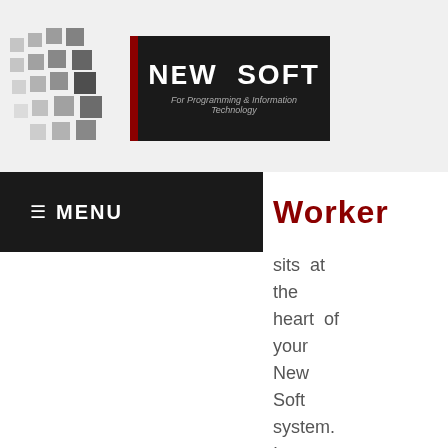[Figure (logo): New Soft logo with grid of grey squares on left and black text box reading NEW SOFT For Programming & Information Technology with red divider bar]
≡ MENU
Worker
sits at the heart of your New Soft system. It makes it easy to bring together and get more value